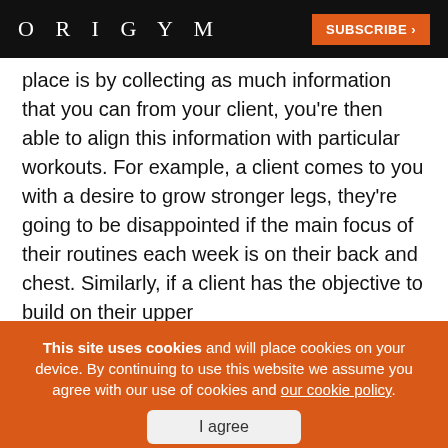ORIGYM | SUBSCRIBE >
place is by collecting as much information that you can from your client, you're then able to align this information with particular workouts. For example, a client comes to you with a desire to grow stronger legs, they're going to be disappointed if the main focus of their routines each week is on their back and chest. Similarly, if a client has the objective to build on their upper
This site uses cookies and will place cookies on your device. By continuing to use this website we assume you agree with our use of cookies and our cookie policy. | I agree